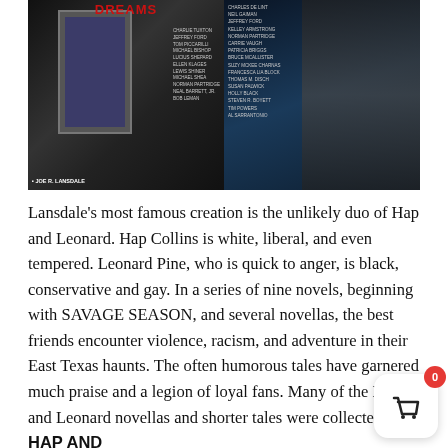[Figure (photo): Two book covers side by side. Left: a dark noir cover with a doorway scene, titled 'DREAMS' in red, edited by Joe R. Lansdale, with multiple author names listed. Right: a dark urban fantasy cover showing a tattooed woman, with a list of authors including Charles de Lint, Neil Gaiman, Jeffrey Ford, Kelley Armstrong, Norman Partridge, Carrie Vaughn, Patricia Briggs, Bruce McAllister, Suzy McKee Charnas, Francesca Lia Block, Thomas M. Disch, Susan Palwick, Holly Black, Steven R. Boyett, Tim Powers, Al Sarrantonio.]
Lansdale's most famous creation is the unlikely duo of Hap and Leonard. Hap Collins is white, liberal, and even tempered. Leonard Pine, who is quick to anger, is black, conservative and gay. In a series of nine novels, beginning with SAVAGE SEASON, and several novellas, the best friends encounter violence, racism, and adventure in their East Texas haunts. The often humorous tales have garnered much praise and a legion of loyal fans. Many of the Hap and Leonard novellas and shorter tales were collected in HAP AND